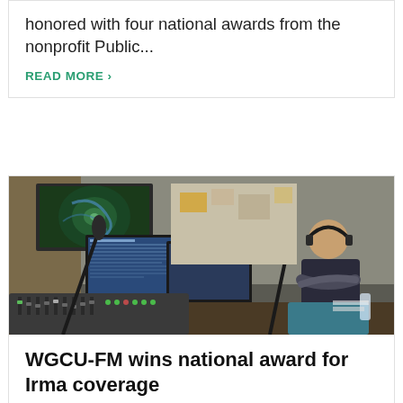honored with four national awards from the nonprofit Public...
READ MORE >
[Figure (photo): Radio studio with broadcast equipment including mixing board, microphones on boom arms, multiple computer monitors showing weather and other data, and a person wearing headphones sitting with arms crossed in the background]
WGCU-FM wins national award for Irma coverage
WGCU-FM has won a 2018 National